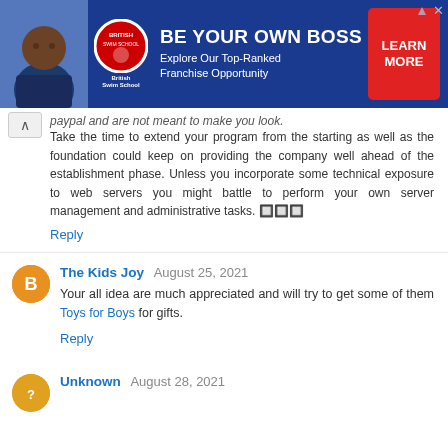[Figure (photo): Advertisement banner for British Swim School franchise. Blue background with a man in navy uniform, British Swim School logo, text 'BE YOUR OWN BOSS Explore Our Top-Ranked Franchise Opportunity' and red 'LEARN MORE' button.]
paypal and are not meant to make you look.
Take the time to extend your program from the starting as well as the foundation could keep on providing the company well ahead of the establishment phase. Unless you incorporate some technical exposure to web servers you might battle to perform your own server management and administrative tasks. 🔲🔲🔲
Reply
The Kids Joy August 25, 2021
Your all idea are much appreciated and will try to get some of them Toys for Boys for gifts.
Reply
Unknown August 28, 2021